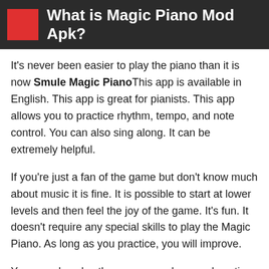What is Magic Piano Mod Apk?
It's never been easier to play the piano than it is now Smule Magic PianoThis app is available in English. This app is great for pianists. This app allows you to practice rhythm, tempo, and note control. You can also sing along. It can be extremely helpful.
If you're just a fan of the game but don't know much about music it is fine. It is possible to start at lower levels and then feel the joy of the game. It's fun. It doesn't require any special skills to play the Magic Piano. As long as you practice, you will improve.
You can also play the game anywhere and anytime as